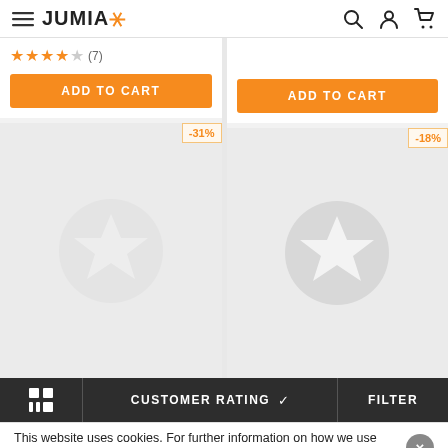JUMIA — navigation header with hamburger menu, logo, search, account, and cart icons
[Figure (screenshot): Two product cards side by side. Left card shows 4-star rating (7 reviews) and orange ADD TO CART button, with -31% discount badge on lower product. Right card shows orange ADD TO CART button with -18% discount badge on lower product. Both lower cards show Jumia star placeholder images on gray background.]
CUSTOMER RATING
FILTER
This website uses cookies. For further information on how we use cookies you can read our Privacy and Cookie notice